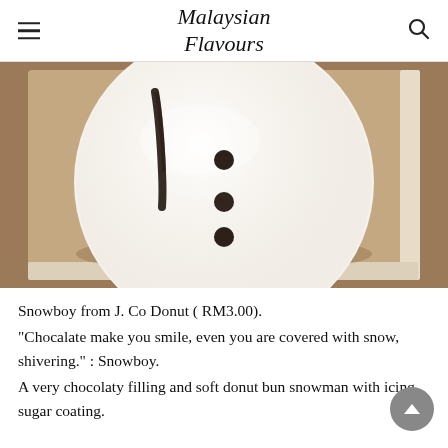Malaysian Flavours
[Figure (photo): Top-down view of a Snowboy donut from J. Co Donut — a large round bun covered in white icing sugar, with three dark chocolate dot markings visible on its surface and a dark chocolate stripe near the top, sitting in a white box/tray.]
Snowboy from J. Co Donut ( RM3.00).
"Chocalate make you smile, even you are covered with snow, shivering." : Snowboy.
A very chocolaty filling and soft donut bun snowman with icing sugar coating.